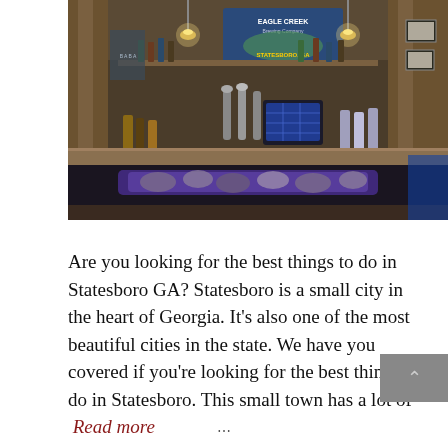[Figure (photo): Interior of Eagle Creek Brewing Company in Statesboro, GA. Bar scene with pendant lights, beer taps, bottles, computer monitor, and a sign reading STATESBORO, GA.]
Are you looking for the best things to do in Statesboro GA? Statesboro is a small city in the heart of Georgia. It's also one of the most beautiful cities in the state. We have you covered if you're looking for the best things to do in Statesboro. This small town has a lot of … Read more